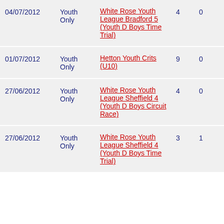| Date | Type | Event |  |  |
| --- | --- | --- | --- | --- |
| 04/07/2012 | Youth Only | White Rose Youth League Bradford 5 (Youth D Boys Time Trial) | 4 | 0 |
| 01/07/2012 | Youth Only | Hetton Youth Crits (U10) | 9 | 0 |
| 27/06/2012 | Youth Only | White Rose Youth League Sheffield 4 (Youth D Boys Circuit Race) | 4 | 0 |
| 27/06/2012 | Youth Only | White Rose Youth League Sheffield 4 (Youth D Boys Time Trial) | 3 | 1 |